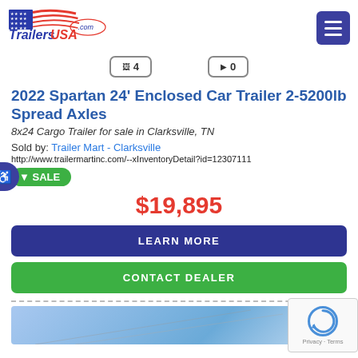[Figure (logo): TrailersUSA.com logo with American flag and red/blue lettering]
2022 Spartan 24' Enclosed Car Trailer 2-5200lb Spread Axles
8x24 Cargo Trailer for sale in Clarksville, TN
Sold by: Trailer Mart - Clarksville
http://www.trailermartinc.com/--xInventoryDetail?id=12307111
SALE
$19,895
LEARN MORE
CONTACT DEALER
[Figure (screenshot): Partial image preview of trailer at bottom of page]